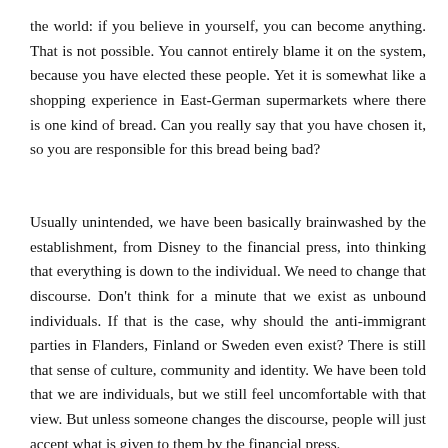the world: if you believe in yourself, you can become anything. That is not possible. You cannot entirely blame it on the system, because you have elected these people. Yet it is somewhat like a shopping experience in East-German supermarkets where there is one kind of bread. Can you really say that you have chosen it, so you are responsible for this bread being bad?
Usually unintended, we have been basically brainwashed by the establishment, from Disney to the financial press, into thinking that everything is down to the individual. We need to change that discourse. Don't think for a minute that we exist as unbound individuals. If that is the case, why should the anti-immigrant parties in Flanders, Finland or Sweden even exist? There is still that sense of culture, community and identity. We have been told that we are individuals, but we still feel uncomfortable with that view. But unless someone changes the discourse, people will just accept what is given to them by the financial press.